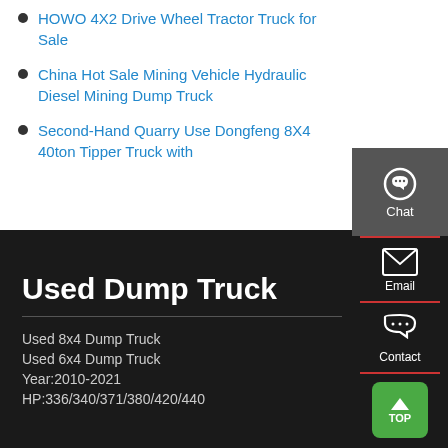HOWO 4X2 Drive Wheel Tractor Truck for Sale
China Hot Sale Mining Vehicle Hydraulic Diesel Mining Dump Truck
Second-Hand Quarry Use Dongfeng 8X4 40ton Tipper Truck with
[Figure (infographic): Chat icon widget - headphone icon with 'Chat' label on dark grey background]
Used Dump Truck
Used 8x4 Dump Truck
Used 6x4 Dump Truck
Year:2010-2021
HP:336/340/371/380/420/440
[Figure (infographic): Side panel icons: Email icon (envelope), Contact icon (chat bubble), TOP button (green with up arrow)]